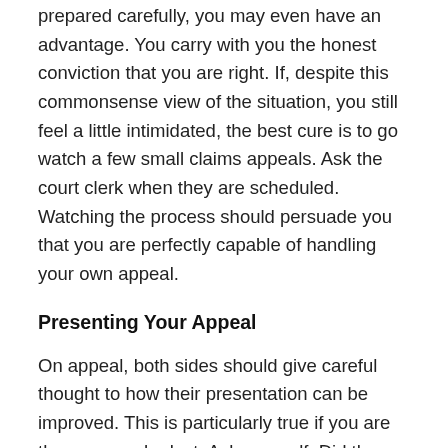prepared carefully, you may even have an advantage. You carry with you the honest conviction that you are right. If, despite this commonsense view of the situation, you still feel a little intimidated, the best cure is to go watch a few small claims appeals. Ask the court clerk when they are scheduled. Watching the process should persuade you that you are perfectly capable of handling your own appeal.
Presenting Your Appeal
On appeal, both sides should give careful thought to how their presentation can be improved. This is particularly true if you are the person who lost. Ask yourself: Did the judge decide against me because I presented my case poorly or because I didn't support my statements with evidence? Or did the